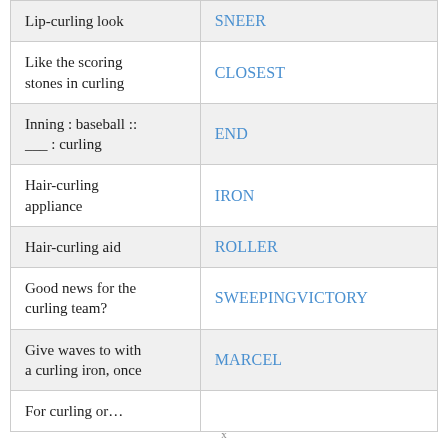| Clue | Answer |
| --- | --- |
| Lip-curling look | SNEER |
| Like the scoring stones in curling | CLOSEST |
| Inning : baseball :: ___ : curling | END |
| Hair-curling appliance | IRON |
| Hair-curling aid | ROLLER |
| Good news for the curling team? | SWEEPINGVICTORY |
| Give waves to with a curling iron, once | MARCEL |
| For curling or… |  |
x